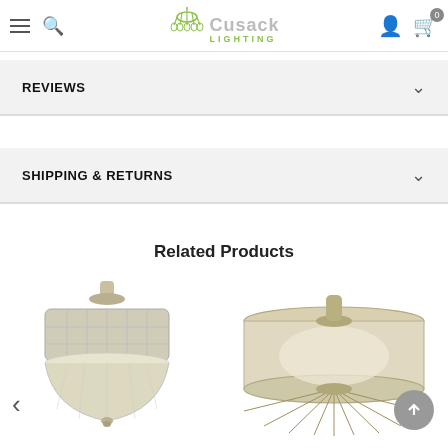Cusack LIGHTING
REVIEWS
SHIPPING & RETURNS
Related Products
[Figure (photo): Crystal semi-flush ceiling light fixture with brushed nickel finish and decorative crystal bowl and surround]
[Figure (photo): Drum-style semi-flush ceiling light fixture with cream/linen fabric shade and antique brass radiating spokes]